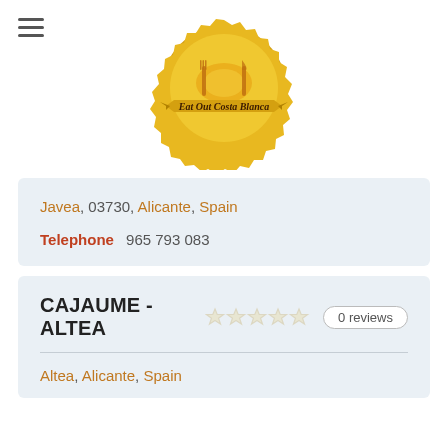[Figure (logo): Eat Out Costa Blanca gold seal logo with fork, plate, and knife icon]
Javea, 03730, Alicante, Spain
Telephone  965 793 083
CAJAUME - ALTEA  ☆☆☆☆☆  0 reviews
Altea, Alicante, Spain